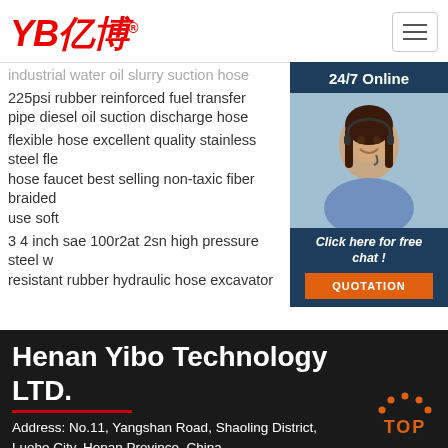YB亿博
industrial water oil slurry suction hose
225psi rubber reinforced fuel transfer pipe diesel oil suction discharge hose
flexible hose excellent quality stainless steel flexible hose faucet best selling non-taxic fiber braided use soft
3 4 inch sae 100r2at 2sn high pressure steel wire resistant rubber hydraulic hose excavator
[Figure (photo): Customer service representative wearing headset, 24/7 Online chat widget with dark blue background and QUOTATION button]
Henan Yibo Technology LTD.
Address: No.11, Yangshan Road, Shaoling District, Luohe City, Henan Province, China